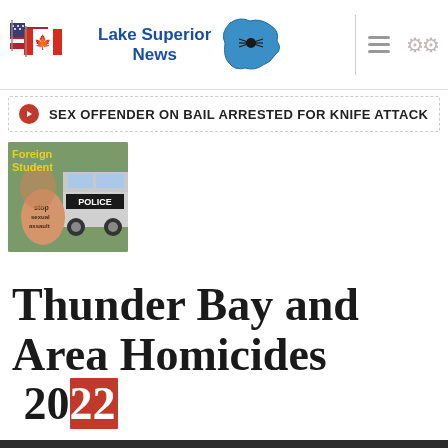Lake Superior News
SEX OFFENDER ON BAIL ARRESTED FOR KNIFE ATTACK
[Figure (photo): Thumbnail image with text 'Foreign Student' in yellow, a hand with 'stop sexual assault' written on it, and a police car in the background]
Thunder Bay and Area Homicides 2022